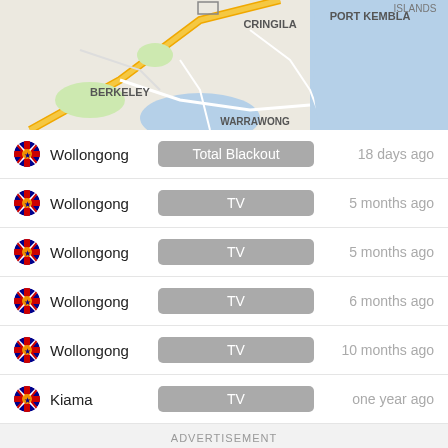[Figure (map): Map showing Wollongong area including Berkeley, Cringila, Port Kembla, Warrawong labels, roads and coastline]
Wollongong | Total Blackout | 18 days ago
Wollongong | TV | 5 months ago
Wollongong | TV | 5 months ago
Wollongong | TV | 6 months ago
Wollongong | TV | 10 months ago
Kiama | TV | one year ago
ADVERTISEMENT
Search for
1. BEST MAC ANTIVIRUS SOFTWARE
2. BEST VPN FOR MOBILE PHONES